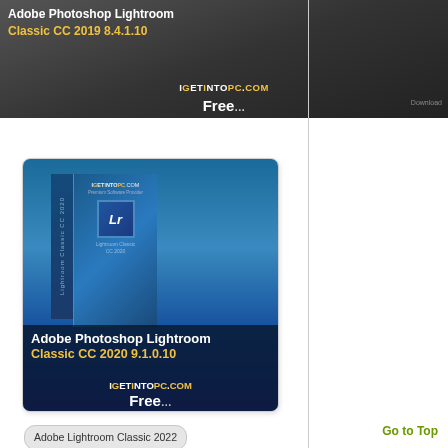[Figure (screenshot): Adobe Photoshop Lightroom Classic CC 2019 8.4.1.10 product card with dark background and Free download label from IGetIntoPC.com]
[Figure (screenshot): Adobe Photoshop Lightroom Classic CC 2020 9.1.0.10 product card with blue whale/landscape background and product box, Free download label from IGetIntoPC.com]
Adobe Lightroom Classic 2022
Adobe Lightroom Classic 2022 Download
Adobe Lightroom Classic 2022 Free Download
Adobe Lightroom Classic Free Download
Free Download
Go to Top